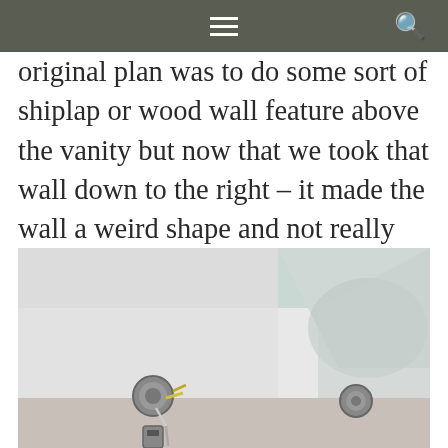original plan was to do some sort of shiplap or wood wall feature above the vanity but now that we took that wall down to the right – it made the wall a weird shape and not really something I could work with.
[Figure (photo): Interior photo of a bathroom wall under renovation, showing bare drywall with exposed electrical wiring and wall anchors/brackets, soft white walls with some shadowing from construction.]